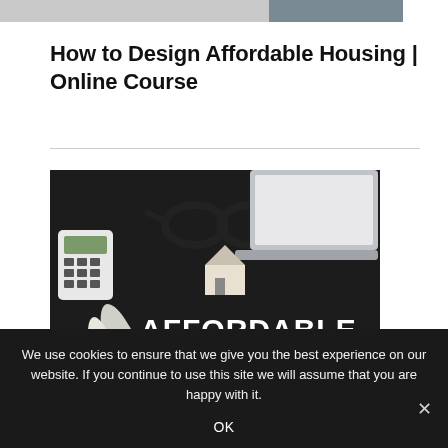How to Design Affordable Housing | Online Course
[Figure (photo): Dark background flat-lay photo with calculator, rolled blueprints, glasses, laptop, small house model, and text 'AFFORDABLE HOUSING' in large white bold letters with a floor-plan icon below]
We use cookies to ensure that we give you the best experience on our website. If you continue to use this site we will assume that you are happy with it.
OK